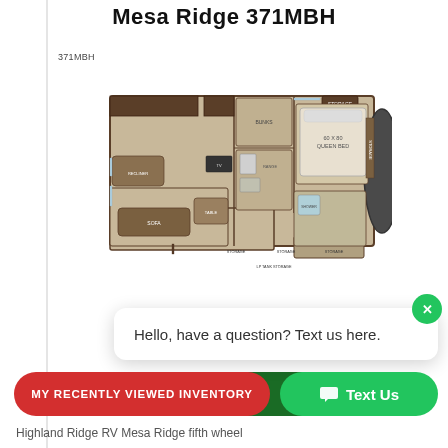Mesa Ridge 371MBH
371MBH
[Figure (schematic): Floor plan diagram of the Highland Ridge RV Mesa Ridge 371MBH fifth wheel, showing interior layout with labeled rooms including bedroom with queen bed, living area, kitchen, bunk area, and storage compartments.]
Hello, have a question? Text us here.
MY RECENTLY VIEWED INVENTORY
Text Us
Highland Ridge RV Mesa Ridge fifth wheel